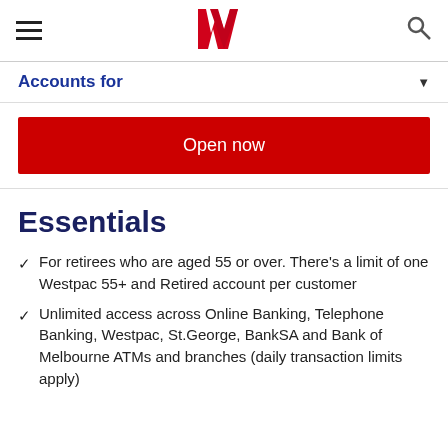Westpac logo, navigation menu and search
Accounts for ▼
Open now
Essentials
For retirees who are aged 55 or over. There's a limit of one Westpac 55+ and Retired account per customer
Unlimited access across Online Banking, Telephone Banking, Westpac, St.George, BankSA and Bank of Melbourne ATMs and branches (daily transaction limits apply)